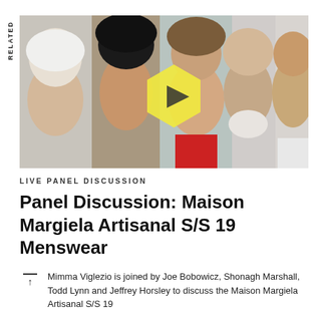RELATED
[Figure (photo): A composite photo strip showing five people in close-up profile/face views: an older woman with white hair, a dark-haired woman, a young smiling woman, an older bearded man with glasses, and a young man. A yellow hexagon play button overlay is on the left portion.]
LIVE PANEL DISCUSSION
Panel Discussion: Maison Margiela Artisanal S/S 19 Menswear
Mimma Viglezio is joined by Joe Bobowicz, Shonagh Marshall, Todd Lynn and Jeffrey Horsley to discuss the Maison Margiela Artisanal S/S 19